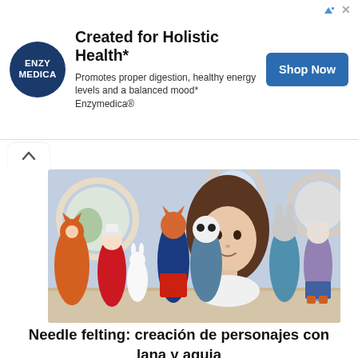[Figure (advertisement): Enzymedica ad banner with logo, headline 'Created for Holistic Health*', subtext 'Promotes proper digestion, healthy energy levels and a balanced mood* Enzymedica®', and 'Shop Now' button]
[Figure (photo): Woman surrounded by needle-felted animal characters (foxes, panda, rabbit, cat, bear) displayed on a table with embroidery hoops on the wall behind]
Needle felting: creación de personajes con lana y aguja